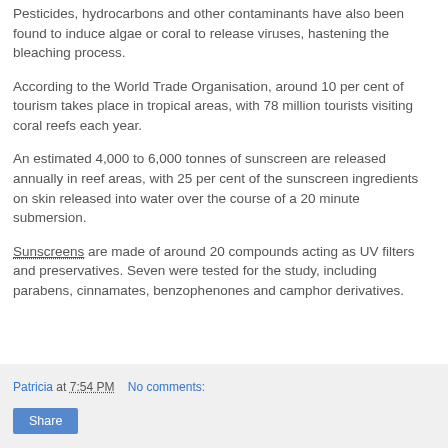Pesticides, hydrocarbons and other contaminants have also been found to induce algae or coral to release viruses, hastening the bleaching process.
According to the World Trade Organisation, around 10 per cent of tourism takes place in tropical areas, with 78 million tourists visiting coral reefs each year.
An estimated 4,000 to 6,000 tonnes of sunscreen are released annually in reef areas, with 25 per cent of the sunscreen ingredients on skin released into water over the course of a 20 minute submersion.
Sunscreens are made of around 20 compounds acting as UV filters and preservatives. Seven were tested for the study, including parabens, cinnamates, benzophenones and camphor derivatives.
Patricia at 7:54 PM   No comments:   Share